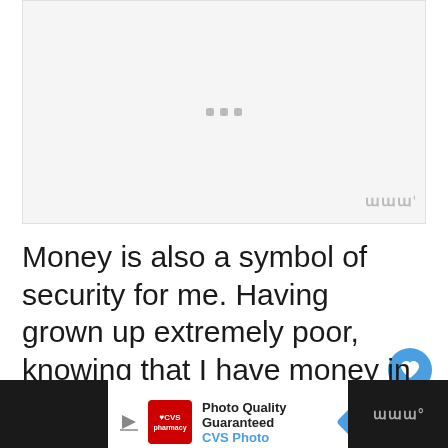[Figure (photo): Image placeholder with loading dots and watermark logo in bottom right corner]
Money is also a symbol of security for me. Having grown up extremely poor, knowing that I have money in the bank is very reassuring.
[Figure (other): Advertisement bar at bottom: CVS Photo - Photo Quality Guaranteed]